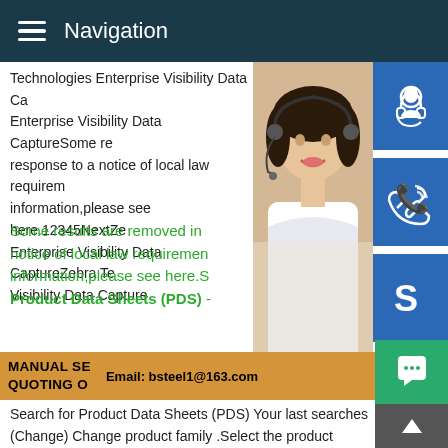Navigation
Technologies Enterprise Visibility Data Ca Enterprise Visibility Data CaptureSome re response to a notice of local law requirem information,please see here.12345NextZe Enterprise Visibility Data CaptureZebra Te Visibility Data Capture
Some results are removed in notice of local law requiremen information,please see here.S Product Data Sheets (PDS) -
[Figure (photo): Woman wearing headset, customer service representative, with blue icon buttons for support, phone, and Skype on the right side, and a gold/orange promotional banner reading MANUAL SE... QUOTING O... Email: bsteel1@163.com]
Search for Product Data Sheets (PDS) Your last searches (Change) Change product family .Select the product families you would like to include in your search.(Change) Change Location .Select the Location you would like to include in your search.Energy lives here Select location SS500 Moisture Ana SpectroSensorsThe SS500 very quickly pays for itself by doi